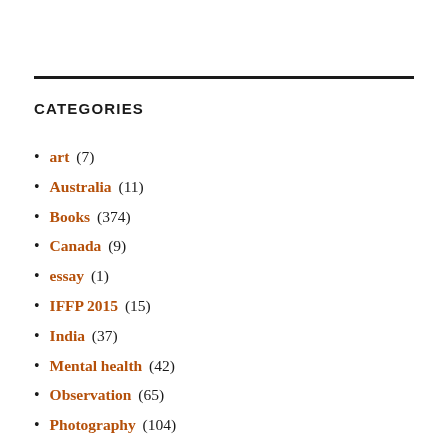CATEGORIES
art (7)
Australia (11)
Books (374)
Canada (9)
essay (1)
IFFP 2015 (15)
India (37)
Mental health (42)
Observation (65)
Photography (104)
poetry (48)